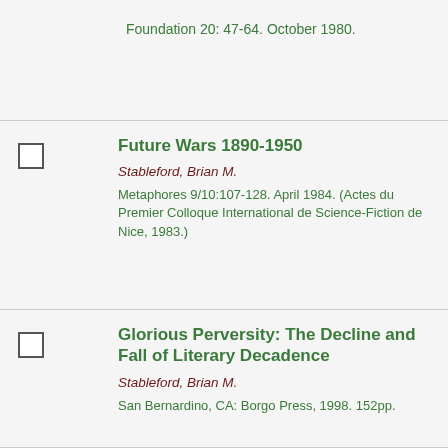Foundation 20: 47-64. October 1980.
Future Wars 1890-1950
Stableford, Brian M.
Metaphores 9/10:107-128. April 1984. (Actes du Premier Colloque International de Science-Fiction de Nice, 1983.)
Glorious Perversity: The Decline and Fall of Literary Decadence
Stableford, Brian M.
San Bernardino, CA: Borgo Press, 1998. 152pp.